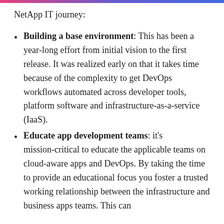NetApp IT journey:
Building a base environment: This has been a year-long effort from initial vision to the first release. It was realized early on that it takes time because of the complexity to get DevOps workflows automated across developer tools, platform software and infrastructure-as-a-service (IaaS).
Educate app development teams: it's mission-critical to educate the applicable teams on cloud-aware apps and DevOps. By taking the time to provide an educational focus you foster a trusted working relationship between the infrastructure and business apps teams. This can